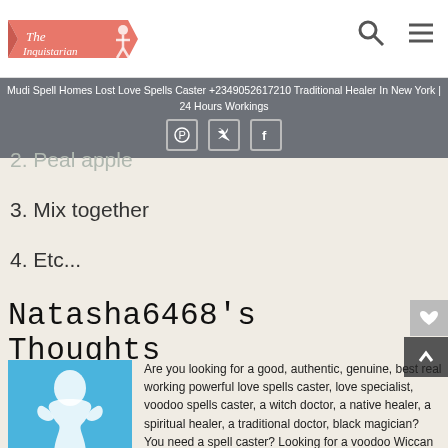The Inquistarian — navigation header with search and menu icons
Mudi Spell Homes Lost Love Spells Caster +2349052617210 Traditional Healer In New York | 24 Hours Workings
2. Peal apple
3. Mix together
4. Etc...
Natasha6468's Thoughts
[Figure (photo): Blue avatar silhouette of a person with hands on hips, labeled 'By natasha6468']
Are you looking for a good, authentic, genuine, best real working powerful love spells caster, love specialist, voodoo spells caster, a witch doctor, a native healer, a spiritual healer, a traditional doctor, black magician? You need a spell caster? Looking for a voodoo Wiccan love spells caster? You want/ need your lost lover back? You need to reunite you're lost ex-lover? You want to return you're lost ex-lover? You want to reunite with your lost ex-lover? I am a love spells caster / a spell caster to bring back lost lover, return reunite